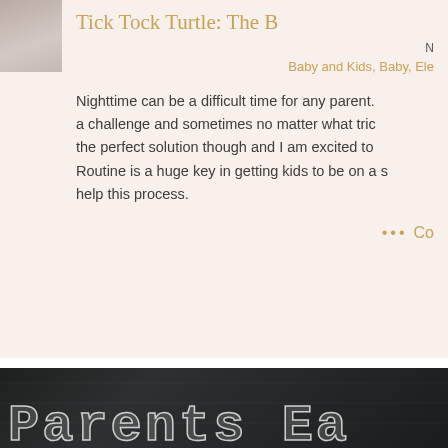Tick Tock Turtle: The B…
N…
Baby and Kids, Baby, Ele…
Nighttime can be a difficult time for any parent. a challenge and sometimes no matter what tric… the perfect solution though and I am excited to… Routine is a huge key in getting kids to be on a s… help this process.
••• Co…
[Figure (photo): Chalkboard with chalk-lettered text reading 'Parents Ea…']